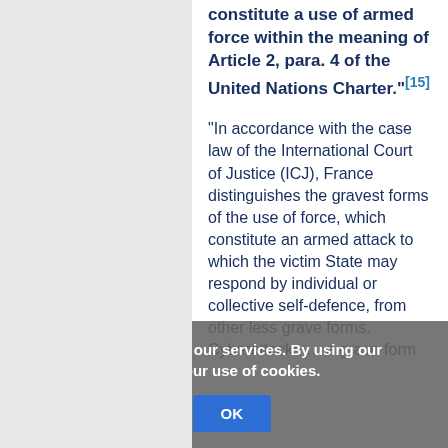constitute a use of armed force within the meaning of Article 2, para. 4 of the United Nations Charter."[15]
"In accordance with the case law of the International Court of Justice (ICJ), France distinguishes the gravest forms of the use of force, which constitute an armed attack to which the victim State may respond by individual or collective self-defence, from other less grave forms. Cyberattacks … a grave form
Cookies help us deliver our services. By using our services, you agree to our use of cookies.